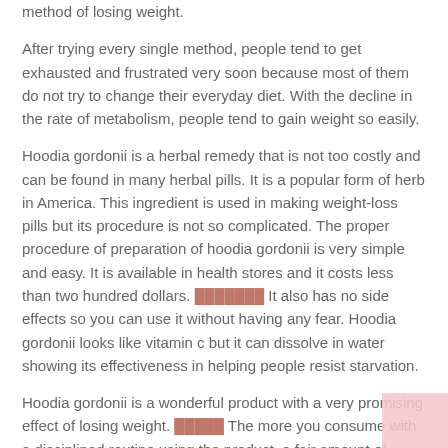method of losing weight.
After trying every single method, people tend to get exhausted and frustrated very soon because most of them do not try to change their everyday diet. With the decline in the rate of metabolism, people tend to gain weight so easily.
Hoodia gordonii is a herbal remedy that is not too costly and can be found in many herbal pills. It is a popular form of herb in America. This ingredient is used in making weight-loss pills but its procedure is not so complicated. The proper procedure of preparation of hoodia gordonii is very simple and easy. It is available in health stores and it costs less than two hundred dollars. [link] It also has no side effects so you can use it without having any fear. Hoodia gordonii looks like vitamin c but it can dissolve in water showing its effectiveness in helping people resist starvation.
Hoodia gordonii is a wonderful product with a very promising effect of losing weight. [link] The more you consume with a disciplined routine using the product, a fair amount of weight will be reduced naturally.